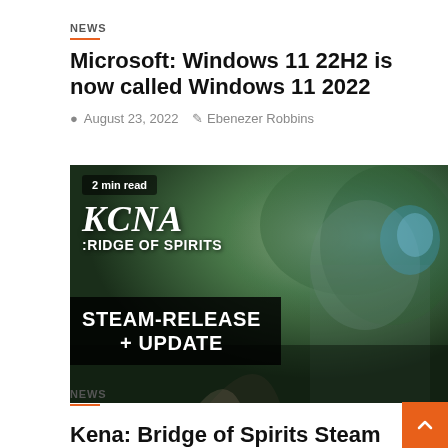NEWS
Microsoft: Windows 11 22H2 is now called Windows 11 2022
August 23, 2022   Ebenezer Robbins
[Figure (photo): Promotional image for Kena: Bridge of Spirits Steam Release + Update, showing the animated character Kena holding a glowing blue staff in a fantasy forest environment. Overlaid text reads: '2 min read', 'KENA', 'RIDGE OF SPIRITS', 'STEAM-RELEASE + UPDATE']
NEWS
Kena: Bridge of Spirits Steam Released Including Major Update